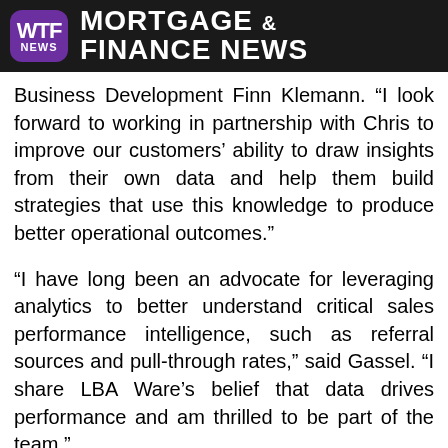WTF NEWS — MORTGAGE & FINANCE NEWS
Business Development Finn Klemann. “I look forward to working in partnership with Chris to improve our customers’ ability to draw insights from their own data and help them build strategies that use this knowledge to produce better operational outcomes.”
“I have long been an advocate for leveraging analytics to better understand critical sales performance intelligence, such as referral sources and pull-through rates,” said Gassel. “I share LBA Ware’s belief that data drives performance and am thrilled to be part of the team.”